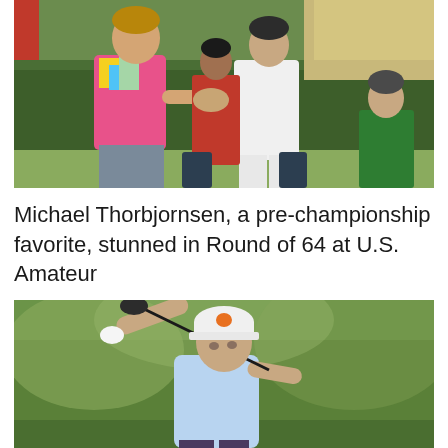[Figure (photo): Two golfers shaking hands on a golf course, with a red-vested caddie and another man in a green shirt in the background. The golfer on the left wears a colorful floral shirt and gray pants.]
Michael Thorbjornsen, a pre-championship favorite, stunned in Round of 64 at U.S. Amateur
[Figure (photo): A young golfer wearing a white cap with an orange logo and a light blue shirt, mid-swing with a driver, looking up to watch the ball. Green trees are blurred in the background.]